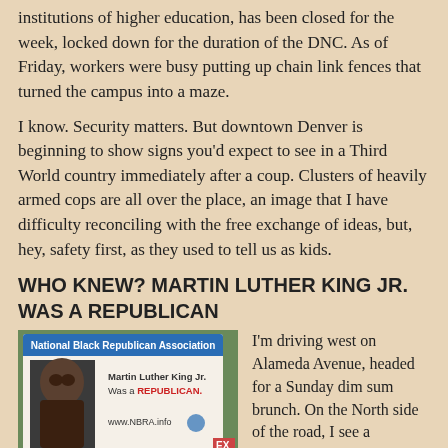institutions of higher education, has been closed for the week, locked down for the duration of the DNC. As of Friday, workers were busy putting up chain link fences that turned the campus into a maze.
I know. Security matters. But downtown Denver is beginning to show signs you'd expect to see in a Third World country immediately after a coup. Clusters of heavily armed cops are all over the place, an image that I have difficulty reconciling with the free exchange of ideas, but, hey, safety first, as they used to tell us as kids.
WHO KNEW? MARTIN LUTHER KING JR. WAS A REPUBLICAN
[Figure (photo): A billboard for the National Black Republican Association showing Martin Luther King Jr.'s portrait with text 'Martin Luther King Jr. Was a REPUBLICAN.' and website www.NBRA.info]
I'm driving west on Alameda Avenue, headed for a Sunday dim sum brunch. On the North side of the road, I see a billboard that boasts a picture of Martin Luther King and these words, "Martin Luther King Jr. was a Republican." My first